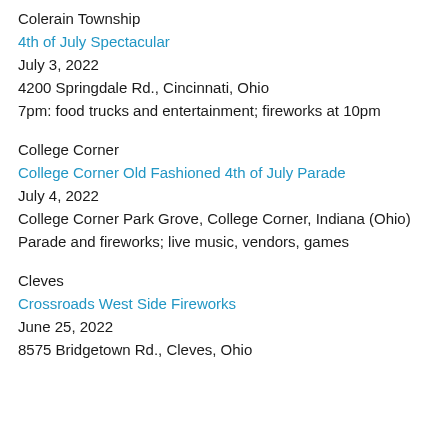Colerain Township
4th of July Spectacular
July 3, 2022
4200 Springdale Rd., Cincinnati, Ohio
7pm: food trucks and entertainment; fireworks at 10pm
College Corner
College Corner Old Fashioned 4th of July Parade
July 4, 2022
College Corner Park Grove, College Corner, Indiana (Ohio)
Parade and fireworks; live music, vendors, games
Cleves
Crossroads West Side Fireworks
June 25, 2022
8575 Bridgetown Rd., Cleves, Ohio